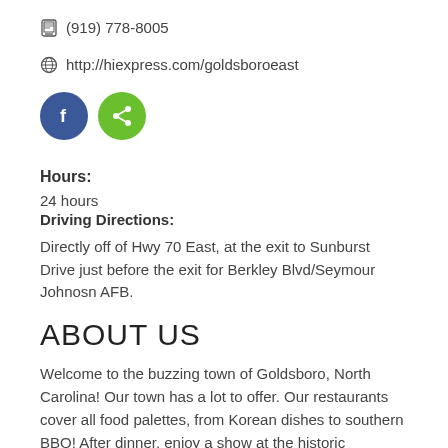(919) 778-8005
http://hiexpress.com/goldsboroeast
[Figure (other): Two circular social media/share buttons: blue Facebook button with 'f' icon, and green share button with share icon]
Hours:
24 hours
Driving Directions:
Directly off of Hwy 70 East, at the exit to Sunburst Drive just before the exit for Berkley Blvd/Seymour Johnosn AFB.
ABOUT US
Welcome to the buzzing town of Goldsboro, North Carolina! Our town has a lot to offer. Our restaurants cover all food palettes, from Korean dishes to southern BBQ! After dinner, enjoy a show at the historic Paramount Theatre, peruse historic downtown, visit the Wayne County Speedway, shop